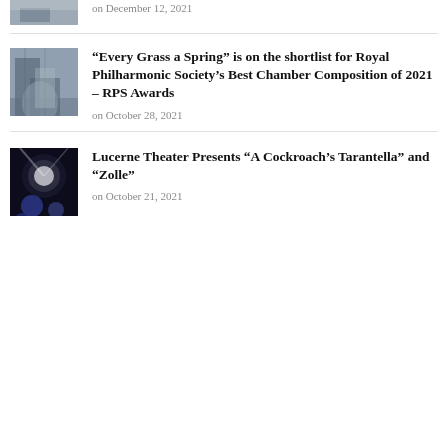on December 12, 2021
[Figure (photo): Partial thumbnail image at top, cropped, showing a building exterior]
“Every Grass a Spring” is on the shortlist for Royal Philharmonic Society’s Best Chamber Composition of 2021 – RPS Awards
[Figure (photo): Thumbnail photo showing a hand pressed against a fence or wooden slats outdoors]
on October 28, 2021
Lucerne Theater Presents “A Cockroach’s Tarantella” and “Zolle”
[Figure (photo): Thumbnail photo showing a bright stage light and blue orbs in a dark theater setting]
on October 21, 2021